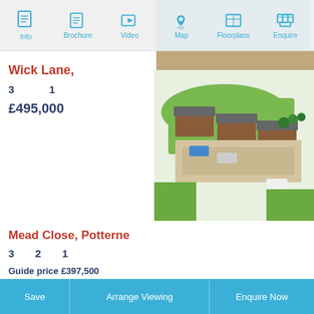[Figure (screenshot): Navigation bar with icons: Info, Brochure, Video, Map, Floorplans, Enquire]
[Figure (photo): Top right: exterior landscape/gravel image]
Wick Lane,
3    1
£495,000
[Figure (photo): Aerial rendering of residential development with houses, driveways, and landscaping]
Mead Close, Potterne
3   2   1
Guide price £397,500
Save   Arrange Viewing   Enquire Now